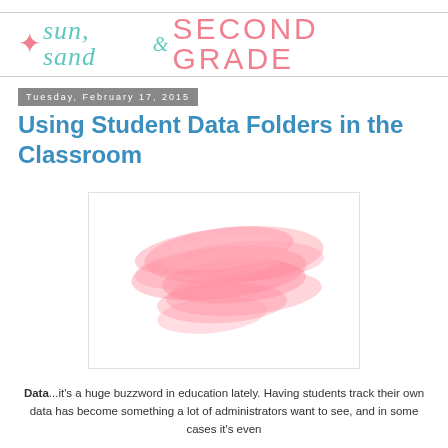sun, sand & SECOND GRADE
Tuesday, February 17, 2015
Using Student Data Folders in the Classroom
[Figure (illustration): Pink watercolor paint brush stroke illustration on white background]
Data...it's a huge buzzword in education lately. Having students track their own data has become something a lot of administrators want to see, and in some cases it's even